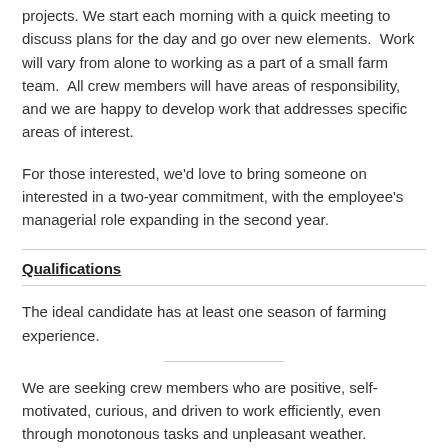projects. We start each morning with a quick meeting to discuss plans for the day and go over new elements.  Work will vary from alone to working as a part of a small farm team.  All crew members will have areas of responsibility, and we are happy to develop work that addresses specific areas of interest.
For those interested, we'd love to bring someone on interested in a two-year commitment, with the employee's managerial role expanding in the second year.
Qualifications
The ideal candidate has at least one season of farming experience.
We are seeking crew members who are positive, self-motivated, curious, and driven to work efficiently, even through monotonous tasks and unpleasant weather.